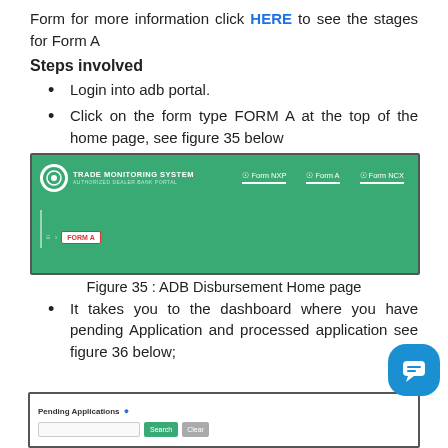Form for more information click HERE to see the stages for Form A
Steps involved
Login into adb portal.
Click on the form type FORM A at the top of the home page, see figure 35 below
[Figure (screenshot): Screenshot of ADB Trade Monitoring System Authorized Dealer Bank Portal navigation showing Form NXP, Form A, and Form NCX tabs, with FORM A breadcrumb highlighted in red.]
Figure 35 : ADB Disbursement Home page
It takes you to the dashboard where you have pending Application and processed application see figure 36 below;
[Figure (screenshot): Screenshot showing Pending Applications section with Search and Clear buttons.]